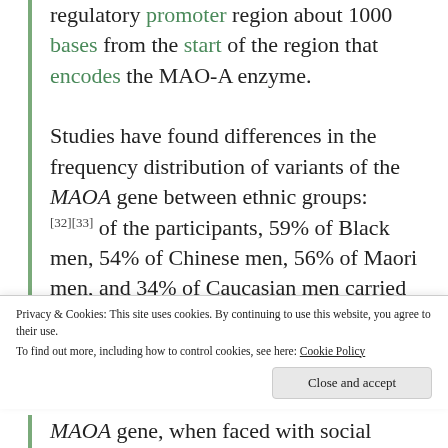regulatory promoter region about 1000 bases from the start of the region that encodes the MAO-A enzyme.

Studies have found differences in the frequency distribution of variants of the MAOA gene between ethnic groups: [32][33] of the participants, 59% of Black men, 54% of Chinese men, 56% of Maori men, and 34% of Caucasian men carried the 3R allele, while 5.5% of Black men, 0.1% of Caucasian men, and 0.00067% of
Privacy & Cookies: This site uses cookies. By continuing to use this website, you agree to their use.
To find out more, including how to control cookies, see here: Cookie Policy
MAOA gene, when faced with social